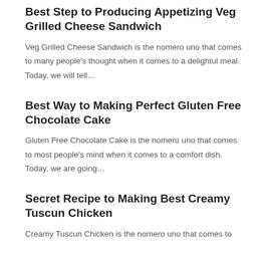Best Step to Producing Appetizing Veg Grilled Cheese Sandwich
Veg Grilled Cheese Sandwich is the nomero uno that comes to many people's thought when it comes to a delightul meal. Today, we will tell…
Best Way to Making Perfect Gluten Free Chocolate Cake
Gluten Free Chocolate Cake is the nomero uno that comes to most people's mind when it comes to a comfort dish. Today, we are going…
Secret Recipe to Making Best Creamy Tuscun Chicken
Creamy Tuscun Chicken is the nomero uno that comes to